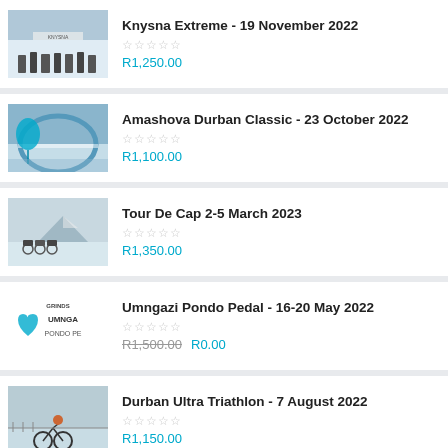Knysna Extreme - 19 November 2022
☆☆☆☆☆
R1,250.00
Amashova Durban Classic - 23 October 2022
☆☆☆☆☆
R1,100.00
Tour De Cap 2-5 March 2023
☆☆☆☆☆
R1,350.00
Umngazi Pondo Pedal - 16-20 May 2022
☆☆☆☆☆
R1,500.00 R0.00
Durban Ultra Triathlon - 7 August 2022
☆☆☆☆☆
R1,150.00
FNB Wines2whales Chardonnay - 28-30 October 2022